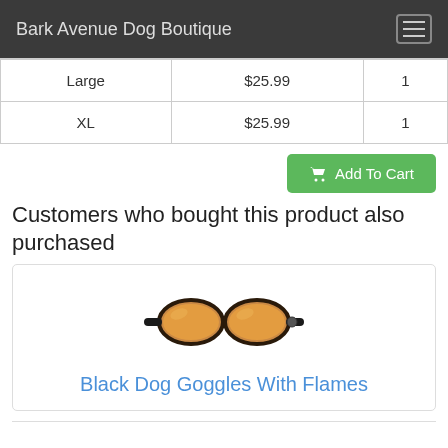Bark Avenue Dog Boutique
| Large | $25.99 | 1 |
| XL | $25.99 | 1 |
Add To Cart
Customers who bought this product also purchased
[Figure (photo): Dog goggles with amber/orange lenses and black frame with strap]
Black Dog Goggles With Flames